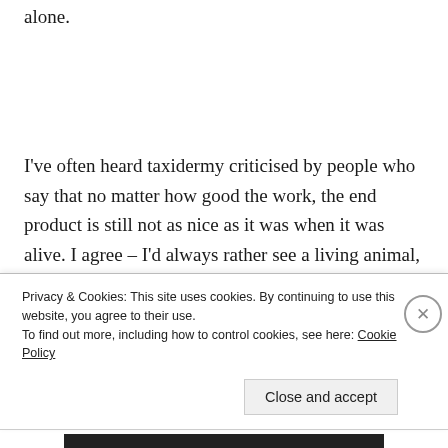alone.
I've often heard taxidermy criticised by people who say that no matter how good the work, the end product is still not as nice as it was when it was alive. I agree – I'd always rather see a living animal, but if it's possible to preserve something of its beauty after death, I'm happy with the logic. A bit more practice might help me
Privacy & Cookies: This site uses cookies. By continuing to use this website, you agree to their use.
To find out more, including how to control cookies, see here: Cookie Policy
Close and accept